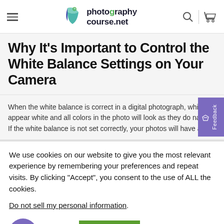photographycourse.net
Why It's Important to Control the White Balance Settings on Your Camera
When the white balance is correct in a digital photograph, white wi... appear white and all colors in the photo will look as they do natura... If the white balance is not set correctly, your photos will have an
We use cookies on our website to give you the most relevant experience by remembering your preferences and repeat visits. By clicking “Accept”, you consent to the use of ALL the cookies.
Do not sell my personal information.